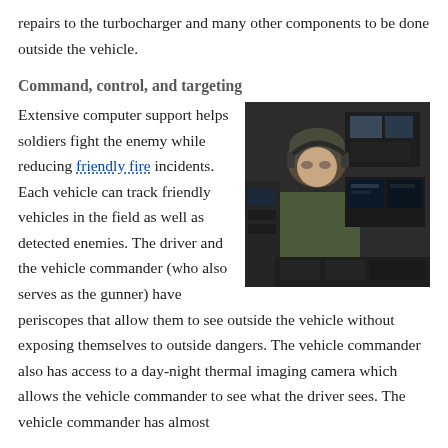repairs to the turbocharger and many other components to be done outside the vehicle.
Command, control, and targeting
Extensive computer support helps soldiers fight the enemy while reducing friendly fire incidents. Each vehicle can track friendly vehicles in the field as well as detected enemies. The driver and the vehicle commander (who also serves as the gunner) have periscopes that allow them to see outside the vehicle without exposing themselves to outside dangers. The vehicle commander also has access to a day-night thermal imaging camera which allows the vehicle commander to see what the driver sees. The vehicle commander has almost
[Figure (photo): A soldier inside a military vehicle looking at control panels and screens, wearing a helmet/headset.]